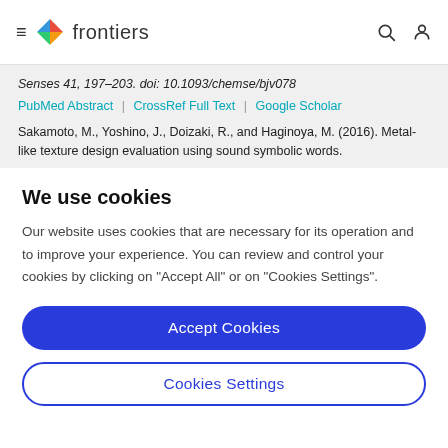frontiers
Senses 41, 197–203. doi: 10.1093/chemse/bjv078
PubMed Abstract | CrossRef Full Text | Google Scholar
Sakamoto, M., Yoshino, J., Doizaki, R., and Haginoya, M. (2016). Metal-like texture design evaluation using sound symbolic words.
We use cookies
Our website uses cookies that are necessary for its operation and to improve your experience. You can review and control your cookies by clicking on "Accept All" or on "Cookies Settings".
Accept Cookies
Cookies Settings